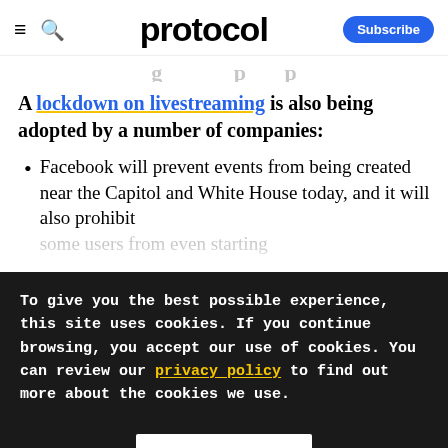protocol — Subscribe
A lockdown on livestreaming is also being adopted by a number of companies:
Facebook will prevent events from being created near the Capitol and White House today, and it will also prohibit some users from even starting
To give you the best possible experience, this site uses cookies. If you continue browsing, you accept our use of cookies. You can review our privacy policy to find out more about the cookies we use.
Accept